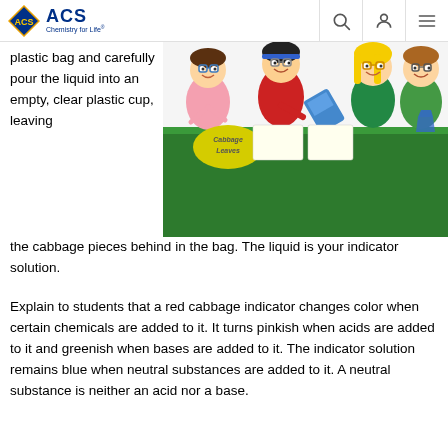ACS Chemistry for Life
plastic bag and carefully pour the liquid into an empty, clear plastic cup, leaving the cabbage pieces behind in the bag. The liquid is your indicator solution.
[Figure (illustration): Cartoon illustration of children doing a science experiment with cabbage leaves at a table. A sign reads 'Cabbage Leaves'.]
Explain to students that a red cabbage indicator changes color when certain chemicals are added to it. It turns pinkish when acids are added to it and greenish when bases are added to it. The indicator solution remains blue when neutral substances are added to it. A neutral substance is neither an acid nor a base.